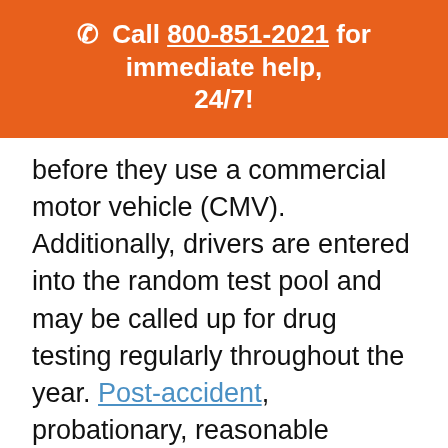☎ Call 800-851-2021 for immediate help, 24/7!
before they use a commercial motor vehicle (CMV). Additionally, drivers are entered into the random test pool and may be called up for drug testing regularly throughout the year. Post-accident, probationary, reasonable suspicion, and return to duty testing are also required.